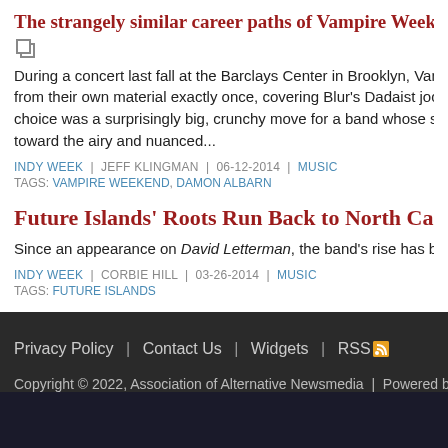The strangely similar career paths of Vampire Weekend and
During a concert last fall at the Barclays Center in Brooklyn, Vampire Wee... from their own material exactly once, covering Blur's Dadaist jock jam "S... choice was a surprisingly big, crunchy move for a band whose sound typic... toward the airy and nuanced...
INDY WEEK | JEFF KLINGMAN | 06-12-2014 | MUSIC
TAGS: VAMPIRE WEEKEND, DAMON ALBARN
Future Islands' Roots Run Back to North Carolina
Since an appearance on David Letterman, the band's rise has been meteori...
INDY WEEK | CORBIE HILL | 03-26-2014 | MUSIC
TAGS: FUTURE ISLANDS
Privacy Policy | Contact Us | Widgets | RSS
Copyright © 2022, Association of Alternative Newsmedia | Powered by Gyr...